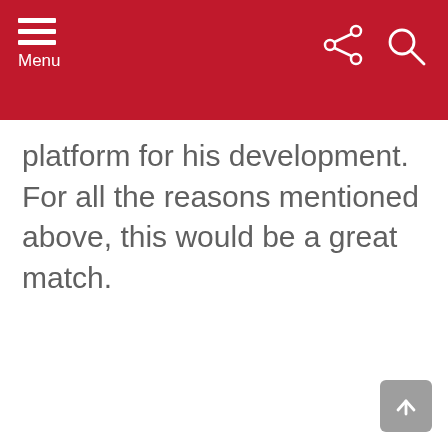Menu
platform for his development. For all the reasons mentioned above, this would be a great match.